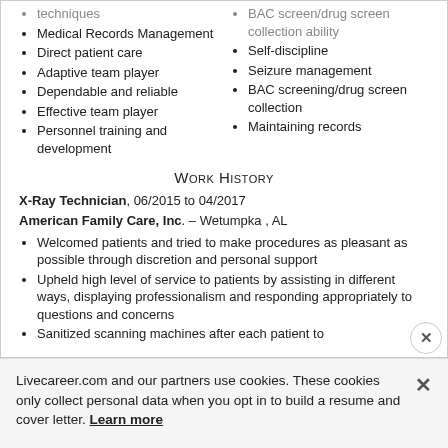techniques
Medical Records Management
Direct patient care
Adaptive team player
Dependable and reliable
Effective team player
Personnel training and development
BAC screen/drug screen collection ability
Self-discipline
Seizure management
BAC screening/drug screen collection
Maintaining records
Work History
X-Ray Technician, 06/2015 to 04/2017
American Family Care, Inc. – Wetumpka , AL
Welcomed patients and tried to make procedures as pleasant as possible through discretion and personal support
Upheld high level of service to patients by assisting in different ways, displaying professionalism and responding appropriately to questions and concerns
Sanitized scanning machines after each patient to
Livecareer.com and our partners use cookies. These cookies only collect personal data when you opt in to build a resume and cover letter. Learn more